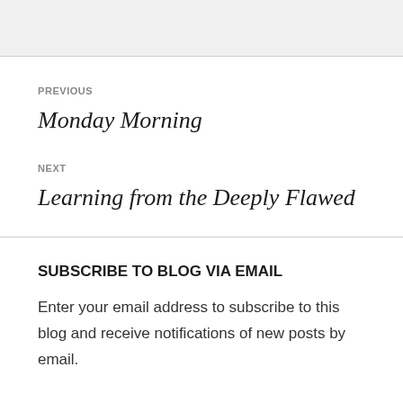PREVIOUS
Monday Morning
NEXT
Learning from the Deeply Flawed
SUBSCRIBE TO BLOG VIA EMAIL
Enter your email address to subscribe to this blog and receive notifications of new posts by email.